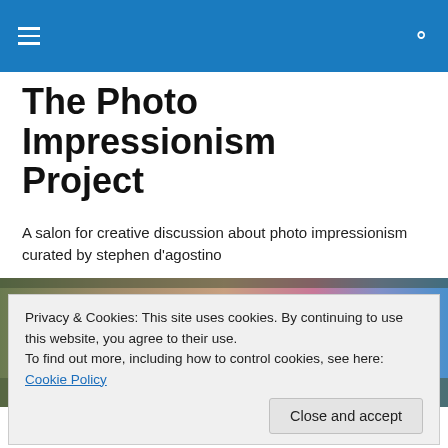The Photo Impressionism Project
A salon for creative discussion about photo impressionism curated by stephen d'agostino
[Figure (photo): A blurred, impressionistic photo of people in colorful traditional clothing appearing to be in motion, with sticks or poles visible, against a muted landscape background.]
Privacy & Cookies: This site uses cookies. By continuing to use this website, you agree to their use.
To find out more, including how to control cookies, see here: Cookie Policy
Close and accept
Street and City Photography l